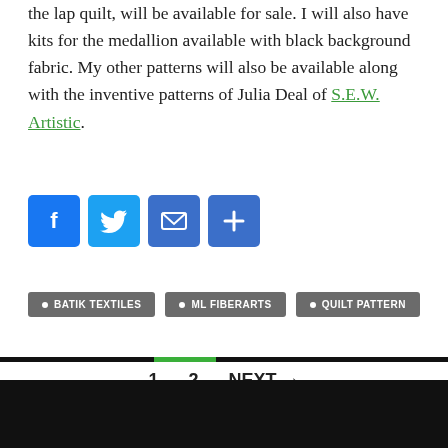the lap quilt, will be available for sale. I will also have kits for the medallion available with black background fabric. My other patterns will also be available along with the inventive patterns of Julia Deal of S.E.W. Artistic.
[Figure (other): Four social sharing icon buttons: Facebook (blue), Twitter (blue), Email (blue), Share/Plus (blue)]
BATIK TEXTILES
ML FIBERARTS
QUILT PATTERN
1  2  NEXT →